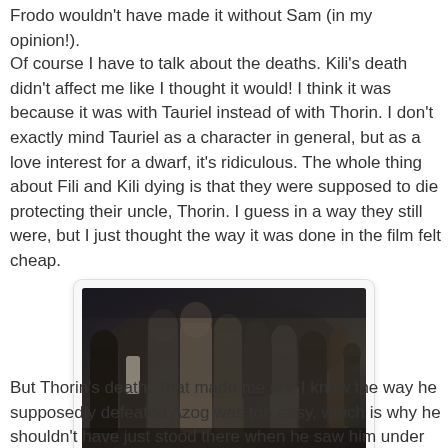Frodo wouldn't have made it without Sam (in my opinion!).
Of course I have to talk about the deaths. Kili's death didn't affect me like I thought it would! I think it was because it was with Tauriel instead of with Thorin. I don't exactly mind Tauriel as a character in general, but as a love interest for a dwarf, it's ridiculous. The whole thing about Fili and Kili dying is that they were supposed to die protecting their uncle, Thorin. I guess in a way they still were, but I just thought the way it was done in the film felt cheap.
[Figure (photo): A group of dwarves from The Hobbit film, standing together in dark medieval armor and cloaks, in a dark moody scene.]
But Thorin's death...that made me cry. I knew the way he supposedly defeated Azog was too easy, which is why he shouldn't have just stood there when he saw him under the ice! I always imagined him dying in the midst of the battle, so